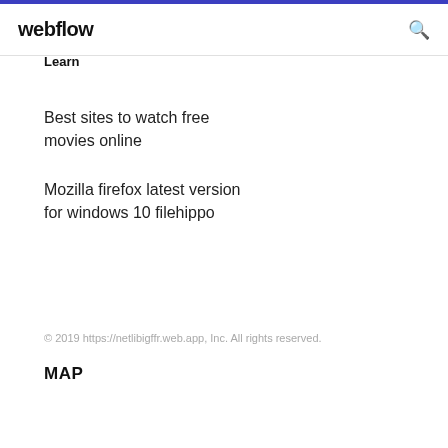webflow
Learn
Best sites to watch free movies online
Mozilla firefox latest version for windows 10 filehippo
© 2019 https://netlibigffr.web.app, Inc. All rights reserved.
MAP